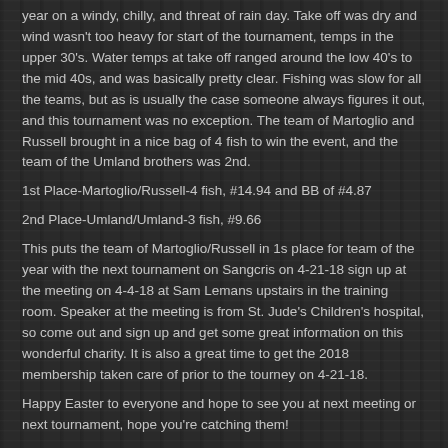year on a windy, chilly, and threat of rain day. Take off was dry and wind wasn't too heavy for start of the tournament, temps in the upper 30's. Water temps at take off ranged around the low 40's to the mid 40s, and was basically pretty clear. Fishing was slow for all the teams, but as is usually the case someone always figures it out, and this tournament was no exception. The team of Martoglio and Russell brought in a nice bag of 4 fish to win the event, and the team of the Umland brothers was 2nd.
1st Place-Martoglio/Russell-4 fish, #14.94 and BB of #4.87
2nd Place-Umland/Umland-3 fish, #9.66
This puts the team of Martoglio/Russell in 1s place for team of the year with the next tournament on Sangcris on 4-21-18 sign up at the meeting on 4-4-18 at Sam Lemans upstairs in the training room. Speaker at the meeting is from St. Jude's Children's hospital, so come out and sign up and get some great information on this wonderful charity. It is also a great time to get the 2018 membership taken care of prior to the tourney on 4-21-18.
Happy Easter to everyone and hope to see you at next meeting or next tournament, hope you're catching them!